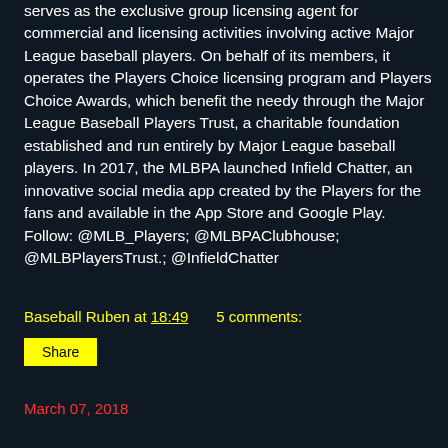serves as the exclusive group licensing agent for commercial and licensing activities involving active Major League baseball players. On behalf of its members, it operates the Players Choice licensing program and Players Choice Awards, which benefit the needy through the Major League Baseball Players Trust, a charitable foundation established and run entirely by Major League baseball players. In 2017, the MLBPA launched Infield Chatter, an innovative social media app created by the Players for the fans and available in the App Store and Google Play. Follow: @MLB_Players; @MLBPAClubhouse; @MLBPlayersTrust.; @InfieldChatter
Baseball Ruben at 18:49    5 comments:
Share
March 07, 2018